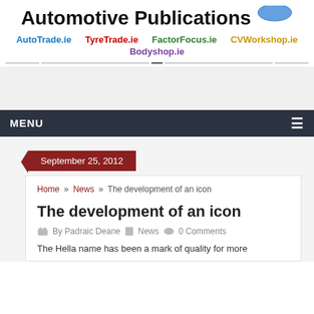Automotive Publications
AutoTrade.ie   TyreTrade.ie   FactorFocus.ie   CVWorkshop.ie   Bodyshop.ie
MENU
September 25, 2012
Home » News » The development of an icon
The development of an icon
By Padraic Deane   News   0 Comments
The Hella name has been a mark of quality for more